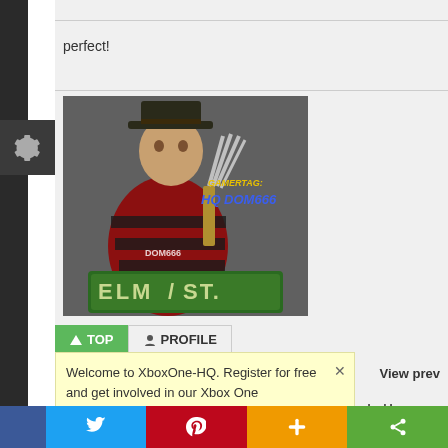perfect!
[Figure (illustration): Freddy Krueger character from A Nightmare on Elm Street, wearing striped sweater and hat, with blade glove, leaning on an Elm St. street sign. Text overlay reads 'GAMERTAG: HQ DOM666']
TOP  PROFILE
Welcome to XboxOne-HQ. Register for free and get involved in our Xbox One Community!
View prev
ONE-HQ.COM Forum Index > Battlefield 4 > Battlefield 6 Leaked Imag...